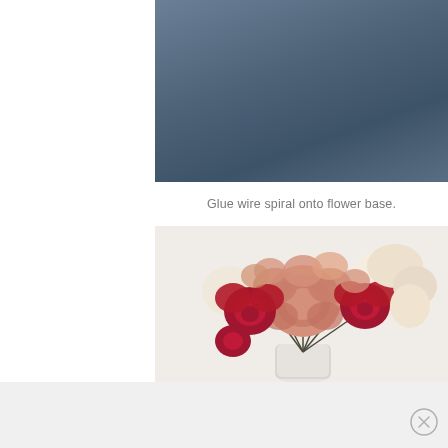[Figure (photo): Dark blue-gray background, partial view of a craft/DIY step image at the top]
Glue wire spiral onto flower base.
[Figure (photo): Bouquet of felt flowers in red, pink, and cream/white colors arranged in a white vase against a light background]